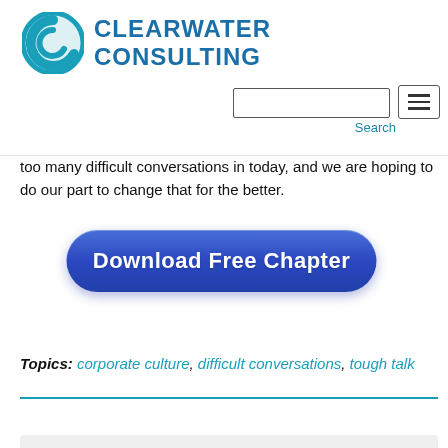Clearwater Consulting
too many difficult conversations in today, and we are hoping to do our part to change that for the better.
[Figure (other): Download Free Chapter button - large rounded blue button with white bold text]
Topics: corporate culture, difficult conversations, tough talk
[Figure (other): Gray content box at bottom of page]